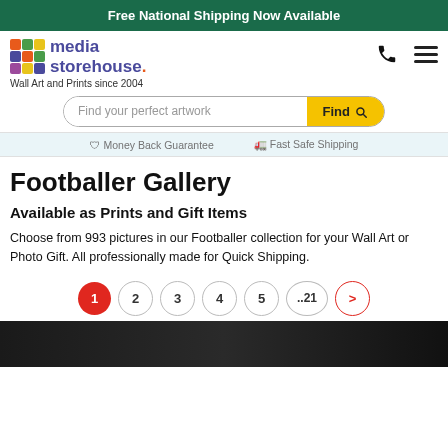Free National Shipping Now Available
[Figure (logo): Media Storehouse logo with colorful grid icon and text 'media storehouse.' and tagline 'Wall Art and Prints since 2004']
[Figure (screenshot): Search bar with placeholder 'Find your perfect artwork' and yellow 'Find' button with magnifying glass icon]
Money Back Guarantee   Fast Safe Shipping
Footballer Gallery
Available as Prints and Gift Items
Choose from 993 pictures in our Footballer collection for your Wall Art or Photo Gift. All professionally made for Quick Shipping.
1  2  3  4  5  ..21  >
[Figure (photo): Partial thumbnail of a footballer image at the bottom of the page]